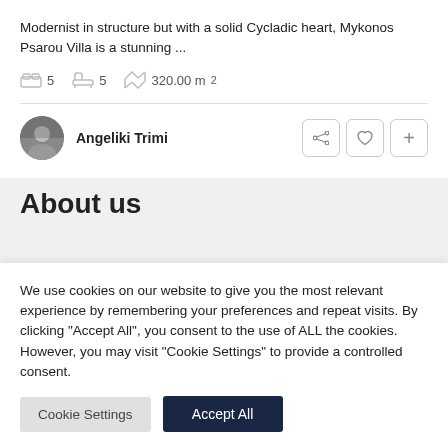Modernist in structure but with a solid Cycladic heart, Mykonos Psarou Villa is a stunning ...
5  5  320.00 m²
Angeliki Trimi
About us
We use cookies on our website to give you the most relevant experience by remembering your preferences and repeat visits. By clicking "Accept All", you consent to the use of ALL the cookies. However, you may visit "Cookie Settings" to provide a controlled consent.
Cookie Settings  Accept All